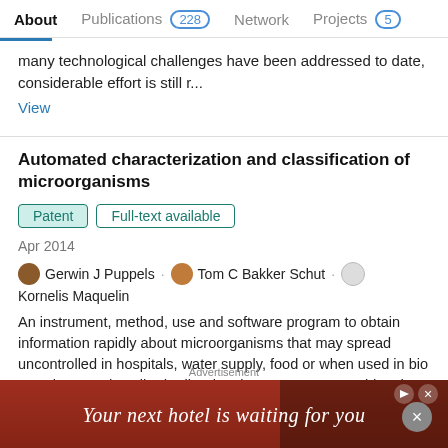About  Publications 228  Network  Projects 5
many technological challenges have been addressed to date, considerable effort is still r...
View
Automated characterization and classification of microorganisms
Patent  Full-text available
Apr 2014
Gerwin J Puppels · Tom C Bakker Schut · Kornelis Maquelin
An instrument, method, use and software program to obtain information rapidly about microorganisms that may spread uncontrolled in hospitals, water supply, food or when used in bio terrorism are described. Vibrational spectroscopy provides data to a computer linked to one or more databases. Comparison of the spectral data and information retrieved
[Figure (infographic): Advertisement banner: 'Your next hotel is waiting for you' with hotel image background, red gradient, play and close icons]